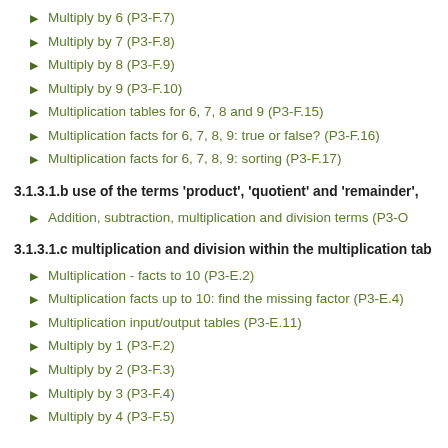Multiply by 6 (P3-F.7)
Multiply by 7 (P3-F.8)
Multiply by 8 (P3-F.9)
Multiply by 9 (P3-F.10)
Multiplication tables for 6, 7, 8 and 9 (P3-F.15)
Multiplication facts for 6, 7, 8, 9: true or false? (P3-F.16)
Multiplication facts for 6, 7, 8, 9: sorting (P3-F.17)
3.1.3.1.b use of the terms 'product', 'quotient' and 'remainder',
Addition, subtraction, multiplication and division terms (P3-O
3.1.3.1.c multiplication and division within the multiplication tab
Multiplication - facts to 10 (P3-E.2)
Multiplication facts up to 10: find the missing factor (P3-E.4)
Multiplication input/output tables (P3-E.11)
Multiply by 1 (P3-F.2)
Multiply by 2 (P3-F.3)
Multiply by 3 (P3-F.4)
Multiply by 4 (P3-F.5)